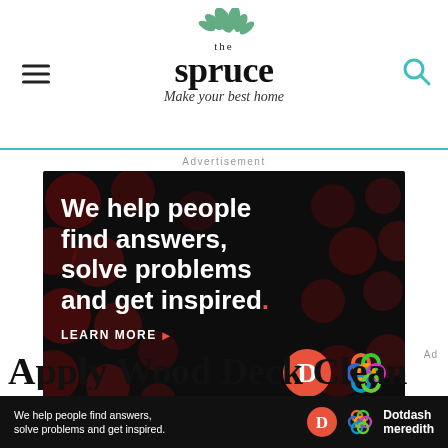the spruce — Make your best home
Advertisement
[Figure (illustration): Dotdash Meredith advertisement banner on dark background with polka dots. Text reads: 'We help people find answers, solve problems and get inspired. LEARN MORE' with Dotdash and Meredith logos.]
Apply Wood Deck Cleaner
[Figure (illustration): Sticky bottom ad bar with same Dotdash Meredith advertisement: 'We help people find answers, solve problems and get inspired.' with logos.]